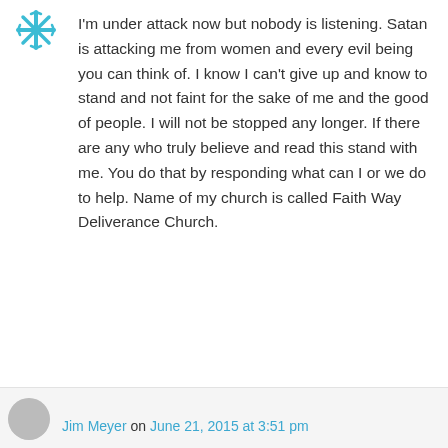[Figure (logo): Snowflake/star decorative avatar icon in teal/cyan color]
I'm under attack now but nobody is listening. Satan is attacking me from women and every evil being you can think of. I know I can't give up and know to stand and not faint for the sake of me and the good of people. I will not be stopped any longer. If there are any who truly believe and read this stand with me. You do that by responding what can I or we do to help. Name of my church is called Faith Way Deliverance Church.
★ Like
↳ Reply
Jim Meyer on June 21, 2015 at 3:51 pm